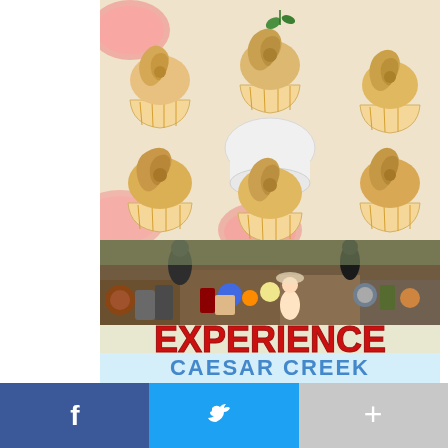[Figure (photo): Close-up photo of multiple cupcakes with swirled rose-shaped frosting in a warm tan/caramel color, with a small sprig of mint in the center, arranged on a watermelon-patterned surface]
[Figure (photo): Photo of Caesar Creek Market flea market with various antiques and collectibles on display, overlaid with 'EXPERIENCE Caesar Creek Market' text in bold red letters, and 'CAESAR CREEK' text partially visible in blue at the bottom]
[Figure (infographic): Social media sharing bar with three buttons: Facebook (blue with 'f' icon), Twitter (blue with bird icon), and a gray '+' more button]